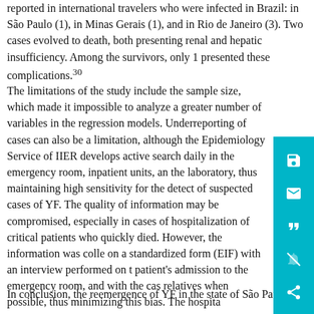reported in international travelers who were infected in Brazil: in São Paulo (1), in Minas Gerais (1), and in Rio de Janeiro (3). Two cases evolved to death, both presenting renal and hepatic insufficiency. Among the survivors, only 1 presented these complications.30
The limitations of the study include the sample size, which made it impossible to analyze a greater number of variables in the regression models. Underreporting of cases can also be a limitation, although the Epidemiology Service of IIER develops active search daily in the emergency room, inpatient units, and the laboratory, thus maintaining high sensitivity for the detection of suspected cases of YF. The quality of information may be compromised, especially in cases of hospitalization of critical patients who quickly died. However, the information was collected on a standardized form (EIF) with an interview performed on the patient's admission to the emergency room, and with the case relatives when possible, thus minimizing this bias. The hospital specialized in infectious diseases, maintaining qualified and trained clinical staff to identify suspected cases of YF.
In conclusion, the reemergence of YF in the state of São Paulo,